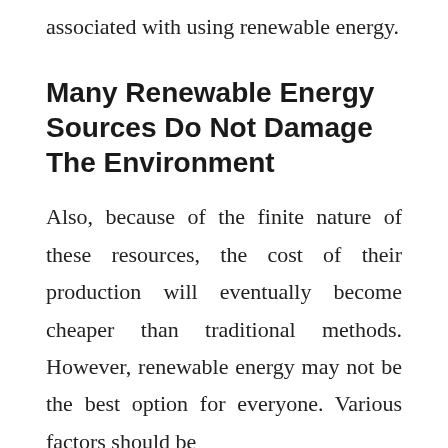associated with using renewable energy.
Many Renewable Energy Sources Do Not Damage The Environment
Also, because of the finite nature of these resources, the cost of their production will eventually become cheaper than traditional methods. However, renewable energy may not be the best option for everyone. Various factors should be